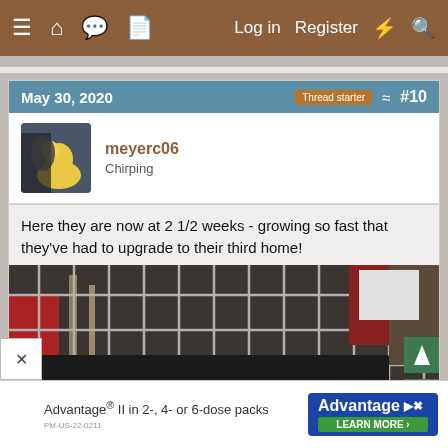≡  🏠  💬  📄    Log in   Register  ⚡  🔍
May 30, 2020   Thread starter  #10
meyerc06
Chirping
Here they are now at 2 1/2 weeks - growing so fast that they've had to upgrade to their third home!
[Figure (photo): Photo of ducklings in a wire cage/crate in a garage or shed setting. The cage has metal wire walls. Some items are visible inside including yellow containers at the bottom. Navigation arrows (up/down) visible on the right side.]
Advantage® II in 2-, 4- or 6-dose packs
ADVANTAGE II
LEARN MORE ›